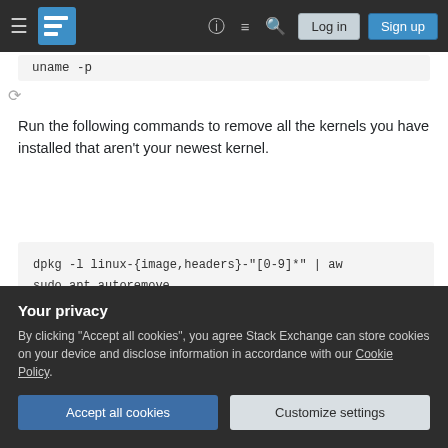Stack Exchange navigation bar with hamburger menu, logo, help icon, chat icon, search icon, Log in and Sign up buttons
uname -p
Run the following commands to remove all the kernels you have installed that aren't your newest kernel.
dpkg -l linux-{image,headers}-"[0-9]*" | aw
sudo apt autoremove
Share
Improve this answer
edited May 11, 2021 at 9:21
Your privacy
By clicking "Accept all cookies", you agree Stack Exchange can store cookies on your device and disclose information in accordance with our Cookie Policy.
Accept all cookies
Customize settings